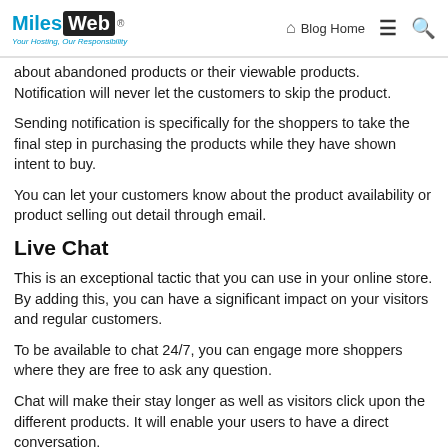MilesWeb | Blog Home
about abandoned products or their viewable products. Notification will never let the customers to skip the product.
Sending notification is specifically for the shoppers to take the final step in purchasing the products while they have shown intent to buy.
You can let your customers know about the product availability or product selling out detail through email.
Live Chat
This is an exceptional tactic that you can use in your online store. By adding this, you can have a significant impact on your visitors and regular customers.
To be available to chat 24/7, you can engage more shoppers where they are free to ask any question.
Chat will make their stay longer as well as visitors click upon the different products. It will enable your users to have a direct conversation.